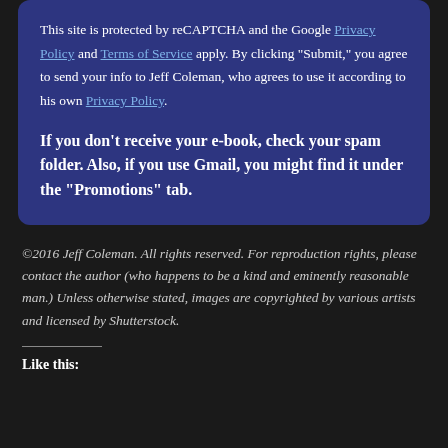This site is protected by reCAPTCHA and the Google Privacy Policy and Terms of Service apply. By clicking "Submit," you agree to send your info to Jeff Coleman, who agrees to use it according to his own Privacy Policy.
If you don't receive your e-book, check your spam folder. Also, if you use Gmail, you might find it under the "Promotions" tab.
©2016 Jeff Coleman. All rights reserved. For reproduction rights, please contact the author (who happens to be a kind and eminently reasonable man.) Unless otherwise stated, images are copyrighted by various artists and licensed by Shutterstock.
Like this: